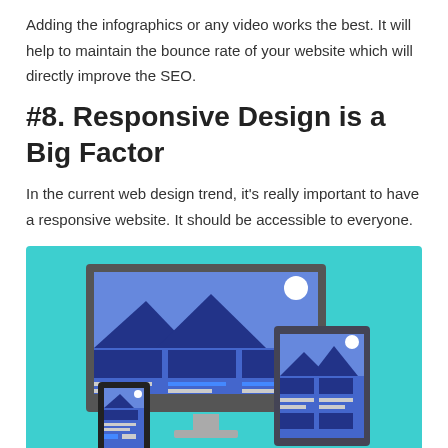Adding the infographics or any video works the best. It will help to maintain the bounce rate of your website which will directly improve the SEO.
#8. Responsive Design is a Big Factor
In the current web design trend, it's really important to have a responsive website. It should be accessible to everyone.
[Figure (illustration): Illustration of responsive web design showing a desktop monitor, tablet, and smartphone on a teal/cyan background. The monitor displays a website with a mountain landscape image and three content blocks. The tablet shows a similar layout. The smartphone shows a smaller version of the site.]